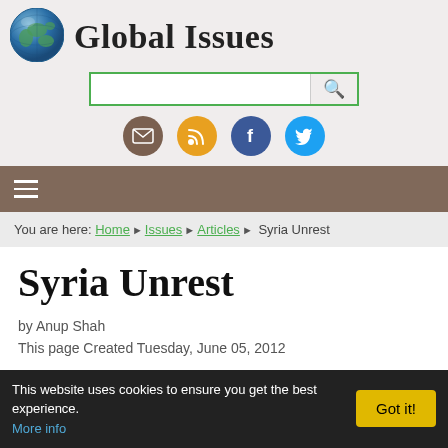Global Issues
[Figure (logo): Globe icon for Global Issues website]
[Figure (other): Search bar with green border and magnifying glass icon]
[Figure (other): Social media icons: email, RSS, Facebook, Twitter]
[Figure (other): Hamburger navigation menu icon on brown bar]
You are here: Home > Issues > Articles > Syria Unrest
Syria Unrest
by Anup Shah
This page Created Tuesday, June 05, 2012
On this page:
This website uses cookies to ensure you get the best experience. More info  Got it!